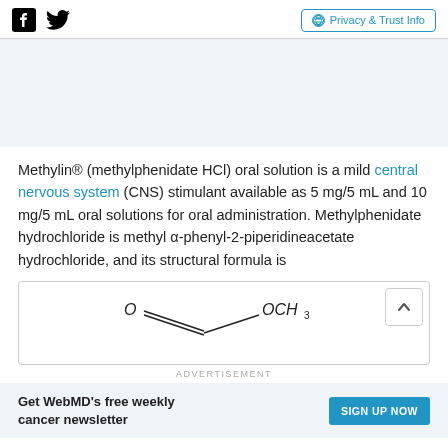Privacy & Trust Info
Methylin® (methylphenidate HCl) oral solution is a mild central nervous system (CNS) stimulant available as 5 mg/5 mL and 10 mg/5 mL oral solutions for oral administration. Methylphenidate hydrochloride is methyl α-phenyl-2-piperidineacetate hydrochloride, and its structural formula is
[Figure (schematic): Partial structural formula showing O with double bond line and OCH3 group]
ADVERTISEMENT
Get WebMD's free weekly cancer newsletter